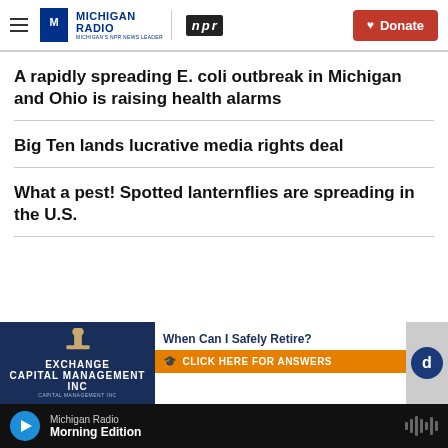Michigan Radio | NPR | Donate
A rapidly spreading E. coli outbreak in Michigan and Ohio is raising health alarms
Big Ten lands lucrative media rights deal
What a pest! Spotted lanternflies are spreading in the U.S.
[Figure (screenshot): Advertisement banner: Exchange Capital Management Inc - 'When Can I Safely Retire? CLICK HERE FOR ANSWERS']
Michigan Radio - Morning Edition (player bar)